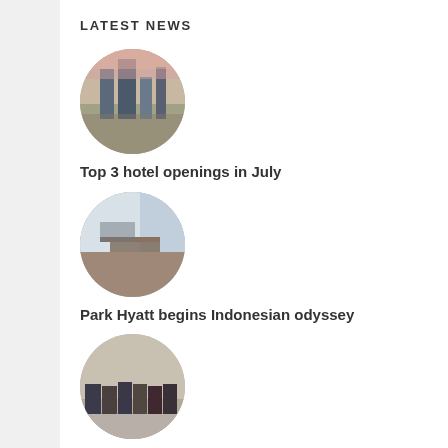LATEST NEWS
[Figure (photo): Circular thumbnail photo of a city skyline at dusk/sunset with tall buildings]
Top 3 hotel openings in July
[Figure (photo): Circular thumbnail photo of a hotel lobby interior with large windows overlooking a city]
Park Hyatt begins Indonesian odyssey
[Figure (photo): Circular thumbnail photo of a group of people standing in front of a hotel construction site]
North Point Hospitality breaks ground on Marriott hotel in Savannah
[Figure (photo): Circular thumbnail photo of a multi-story hotel building exterior with windows]
Four Points by Sheraton enters Rwanda
[Figure (photo): Circular thumbnail photo partially visible at bottom of page]